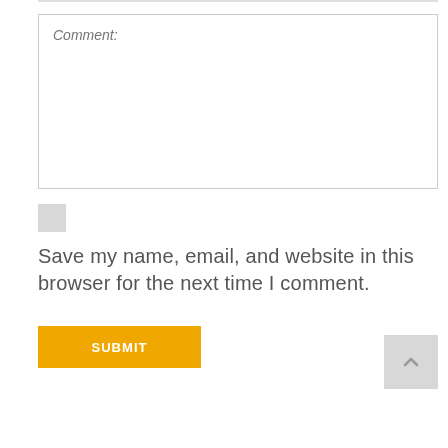Comment:
Save my name, email, and website in this browser for the next time I comment.
SUBMIT